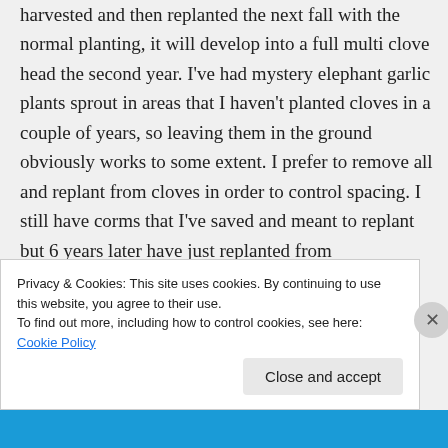harvested and then replanted the next fall with the normal planting, it will develop into a full multi clove head the second year. I've had mystery elephant garlic plants sprout in areas that I haven't planted cloves in a couple of years, so leaving them in the ground obviously works to some extent. I prefer to remove all and replant from cloves in order to control spacing. I still have corms that I've saved and meant to replant but 6 years later have just replanted from
Privacy & Cookies: This site uses cookies. By continuing to use this website, you agree to their use.
To find out more, including how to control cookies, see here: Cookie Policy